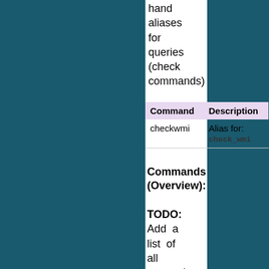hand aliases for queries (check commands)
| Command | Description |
| --- | --- |
| checkwmi | Alias for: check_wmi |
Commands (Overview):
TODO: Add a list of all external commands (this is not